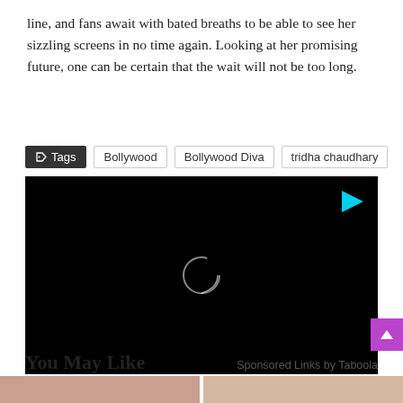line, and fans await with bated breaths to be able to see her sizzling screens in no time again. Looking at her promising future, one can be certain that the wait will not be too long.
Tags  Bollywood  Bollywood Diva  tridha chaudhary
[Figure (screenshot): Black video player with a circular loading spinner in the center and a cyan/blue play button icon in the top-right corner]
You May Like  Sponsored Links by Taboola
[Figure (photo): Two thumbnail images at the bottom of the page]